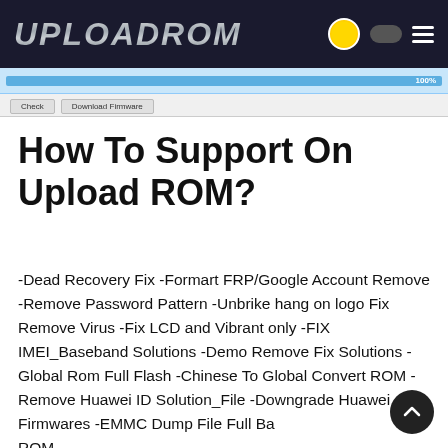UPLOADROM
[Figure (screenshot): Screenshot strip showing a progress bar at 100% with Check and Download Firmware buttons]
How To Support On Upload ROM?
-Dead Recovery Fix -Formart FRP/Google Account Remove -Remove Password Pattern -Unbrike hang on logo Fix Remove Virus -Fix LCD and Vibrant only -FIX IMEI_Baseband Solutions -Demo Remove Fix Solutions -Global Rom Full Flash -Chinese To Global Convert ROM -Remove Huawei ID Solution_File -Downgrade Huawei Firmwares -EMMC Dump File Full Backup ROM